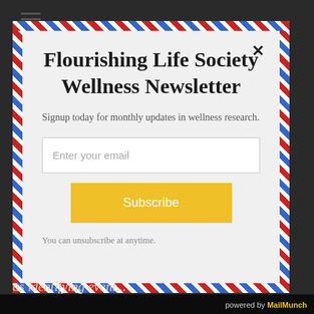Flourishing Life Society Wellness Newsletter
Signup today for monthly updates in wellness research.
Enter your email
Subscribe
You can unsubscribe at anytime.
powered by MailMunch